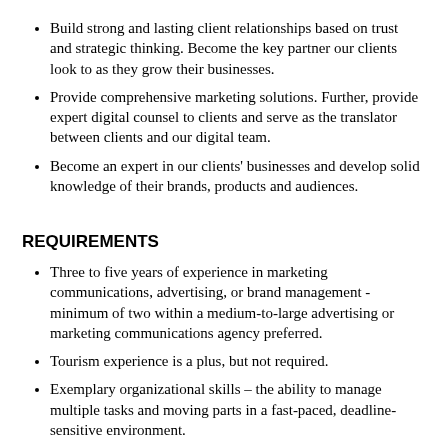Build strong and lasting client relationships based on trust and strategic thinking. Become the key partner our clients look to as they grow their businesses.
Provide comprehensive marketing solutions. Further, provide expert digital counsel to clients and serve as the translator between clients and our digital team.
Become an expert in our clients' businesses and develop solid knowledge of their brands, products and audiences.
REQUIREMENTS
Three to five years of experience in marketing communications, advertising, or brand management - minimum of two within a medium-to-large advertising or marketing communications agency preferred.
Tourism experience is a plus, but not required.
Exemplary organizational skills – the ability to manage multiple tasks and moving parts in a fast-paced, deadline-sensitive environment.
Extreme attention to detail and prioritization/time management skills.
A proven track record of success and results in marketing, specifically media strategy, digital and social media.